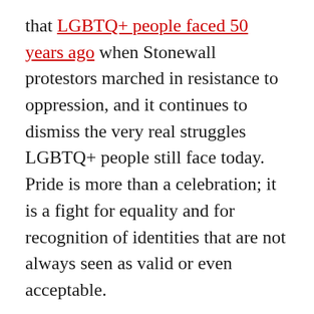that LGBTQ+ people faced 50 years ago when Stonewall protestors marched in resistance to oppression, and it continues to dismiss the very real struggles LGBTQ+ people still face today. Pride is more than a celebration; it is a fight for equality and for recognition of identities that are not always seen as valid or even acceptable.
Similarly, the phrase “All Lives Matter” diminishes the unique challenges that people of colour face. The phrase’s colour-blind approach effectively diminishes the actual aims of the Black Lives Matter movement: fighting racial discrimination and oppression. However, despite